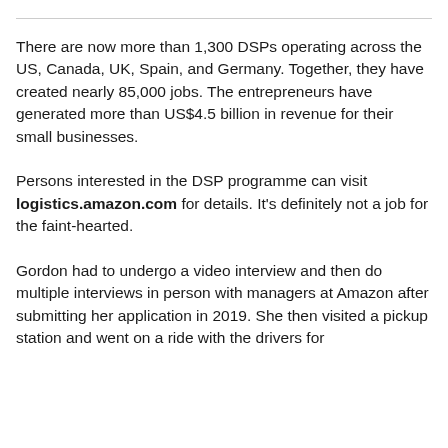There are now more than 1,300 DSPs operating across the US, Canada, UK, Spain, and Germany. Together, they have created nearly 85,000 jobs. The entrepreneurs have generated more than US$4.5 billion in revenue for their small businesses.
Persons interested in the DSP programme can visit logistics.amazon.com for details. It's definitely not a job for the faint-hearted.
Gordon had to undergo a video interview and then do multiple interviews in person with managers at Amazon after submitting her application in 2019. She then visited a pickup station and went on a ride with the drivers for